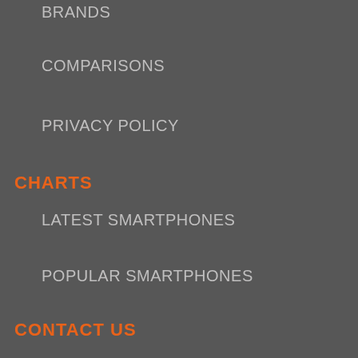BRANDS
COMPARISONS
PRIVACY POLICY
CHARTS
LATEST SMARTPHONES
POPULAR SMARTPHONES
CONTACT US
TWITTER
FACEBOOK
INSTAGRAM
PINTEREST